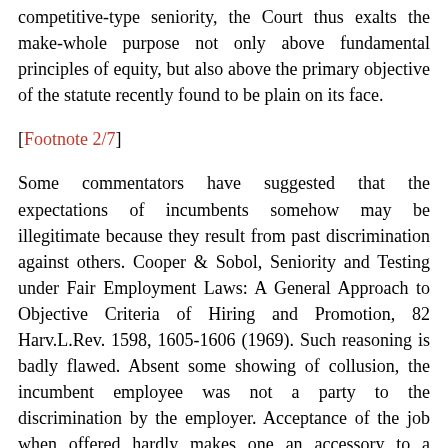competitive-type seniority, the Court thus exalts the make-whole purpose not only above fundamental principles of equity, but also above the primary objective of the statute recently found to be plain on its face.
[Footnote 2/7]
Some commentators have suggested that the expectations of incumbents somehow may be illegitimate because they result from past discrimination against others. Cooper & Sobol, Seniority and Testing under Fair Employment Laws: A General Approach to Objective Criteria of Hiring and Promotion, 82 Harv.L.Rev. 1598, 1605-1606 (1969). Such reasoning is badly flawed. Absent some showing of collusion, the incumbent employee was not a party to the discrimination by the employer. Acceptance of the job when offered hardly makes one an accessory to a discriminatory failure to hire someone else. Moreover,